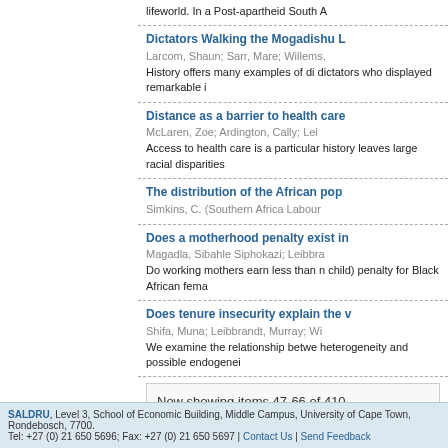lifeworld. In a Post-apartheid South A
Dictators Walking the Mogadishu L
Larcom, Shaun; Sarr, Mare; Willems,
History offers many examples of di dictators who displayed remarkable i
Distance as a barrier to health care
McLaren, Zoe; Ardington, Cally; Lei
Access to health care is a particular history leaves large racial disparities
The distribution of the African pop
Simkins, C. (Southern Africa Labour
Does a motherhood penalty exist in
Magadla, Sibahle Siphokazi; Leibbra
Do working mothers earn less than n child) penalty for Black African fema
Does tenure insecurity explain the v
Shifa, Muna; Leibbrandt, Murray; Wi
We examine the relationship betwe heterogeneity and possible endogenei
Now showing items 47-66 of 410
SALDRU, Level 3, School of Economic Building, Middle Campus, University of Cape Town, Rondebosch, 7700. Tel: +27 (0) 21 650 5696; Fax: +27 (0) 21 650 5697 | Contact Us | Send Feedback